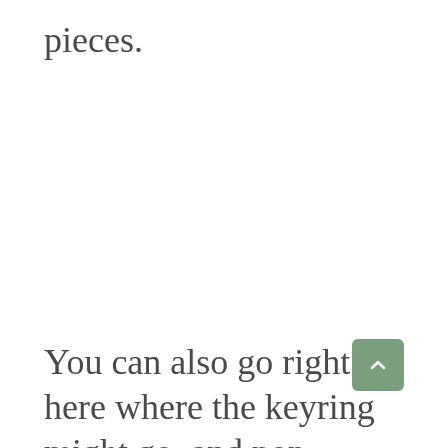pieces.
You can also go right here where the keyring might go, and pop these two pieces off. There's a